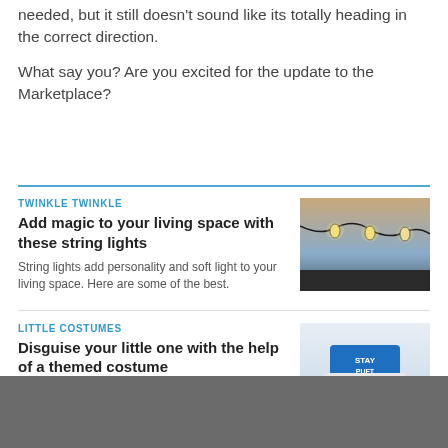needed, but it still doesn't sound like its totally heading in the correct direction.
What say you?  Are you excited for the update to the Marketplace?
TWINKLE TWINKLE
Add magic to your living space with these string lights
String lights add personality and soft light to your living space. Here are some of the best.
[Figure (photo): Photo of string lights hanging against a dusk sky]
LITTLE COSTUMES
Disguise your little one with the help of a themed costume
[Figure (photo): Photo of a baby wearing a Stay Puft costume hat]